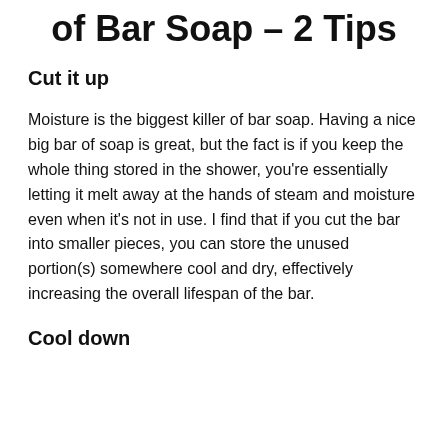of Bar Soap – 2 Tips
Cut it up
Moisture is the biggest killer of bar soap. Having a nice big bar of soap is great, but the fact is if you keep the whole thing stored in the shower, you're essentially letting it melt away at the hands of steam and moisture even when it's not in use. I find that if you cut the bar into smaller pieces, you can store the unused portion(s) somewhere cool and dry, effectively increasing the overall lifespan of the bar.
Cool down